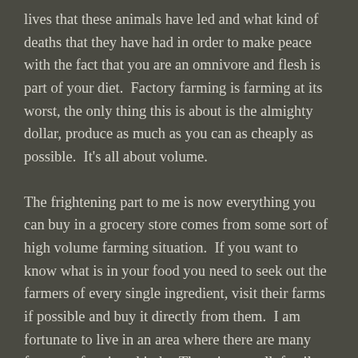lives that these animals have led and what kind of deaths that they have had in order to make peace with the fact that you are an omnivore and flesh is part of your diet.  Factory farming is farming at its worst, the only thing this is about is the almighty dollar, produce as much as you can as cheaply as possible.  It's all about volume.
The frightening part to me is now everything you can buy in a grocery store comes from some sort of high volume farming situation.  If you want to know what is in your food you need to seek out the farmers of every single ingredient, visit their farms if possible and buy it directly from them.  I am fortunate to live in an area where there are many farmers of various kinds.  There is a small, family run dairy right down the street from my house in Enfield.  Smyth's Trinity Farm takes dairy